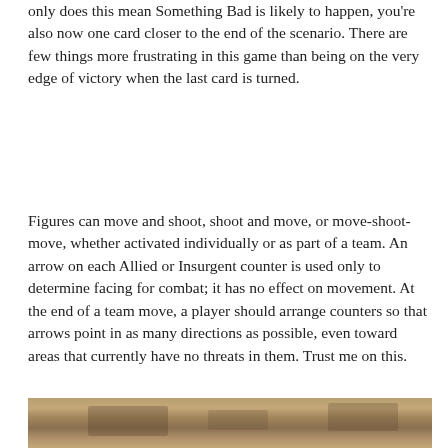only does this mean Something Bad is likely to happen, you're also now one card closer to the end of the scenario. There are few things more frustrating in this game than being on the very edge of victory when the last card is turned.
Figures can move and shoot, shoot and move, or move-shoot-move, whether activated individually or as part of a team. An arrow on each Allied or Insurgent counter is used only to determine facing for combat; it has no effect on movement. At the end of a team move, a player should arrange counters so that arrows point in as many directions as possible, even toward areas that currently have no threats in them. Trust me on this.
[Figure (photo): Partial photo of game components/board at the bottom of the page, showing cards or counters laid out on a surface.]